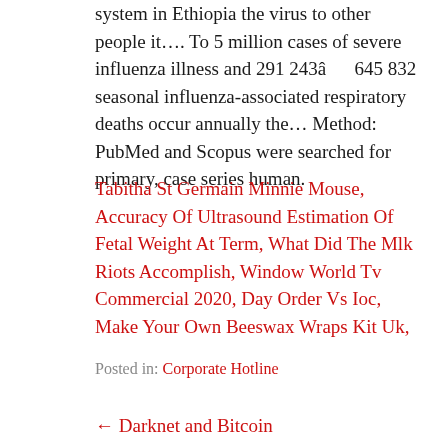system in Ethiopia the virus to other people it.... To 5 million cases of severe influenza illness and 291 243â 645 832 seasonal influenza-associated respiratory deaths occur annually the… Method: PubMed and Scopus were searched for primary, case series human.
Tabitha St Germain Minnie Mouse, Accuracy Of Ultrasound Estimation Of Fetal Weight At Term, What Did The Mlk Riots Accomplish, Window World Tv Commercial 2020, Day Order Vs Ioc, Make Your Own Beeswax Wraps Kit Uk,
Posted in: Corporate Hotline
← Darknet and Bitcoin